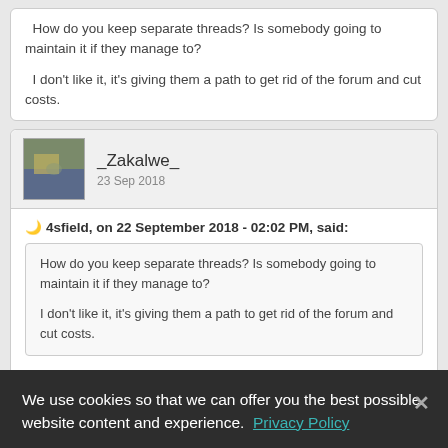How do you keep separate threads? Is somebody going to maintain it if they manage to?

I don't like it, it's giving them a path to get rid of the forum and cut costs.
_Zakalwe_
23 Sep 2018
4sfield, on 22 September 2018 - 02:02 PM, said:
How do you keep separate threads? Is somebody going to maintain it if they manage to?

I don't like it, it's giving them a path to get rid of the forum and cut costs.
I was simply mentioning the search in response to that comment. I
We use cookies so that we can offer you the best possible website content and experience. Privacy Policy